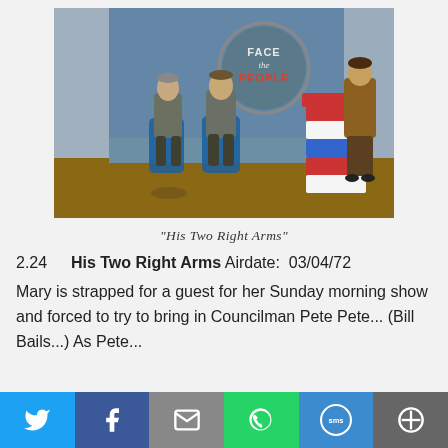[Figure (photo): TV show set with two men seated in chairs and a woman standing at a colorful podium. A circular sign reads 'Face the People' in the background.]
“His Two Right Arms”
2.24   His Two Right Arms  Airdate:  03/04/72
Mary is strapped for a guest for her Sunday morning show and forced to try to bring in Councilman Pete Pete... (Bill Bails...) As Pete...
Social share bar: Twitter, Facebook, Email, WhatsApp, SMS, More